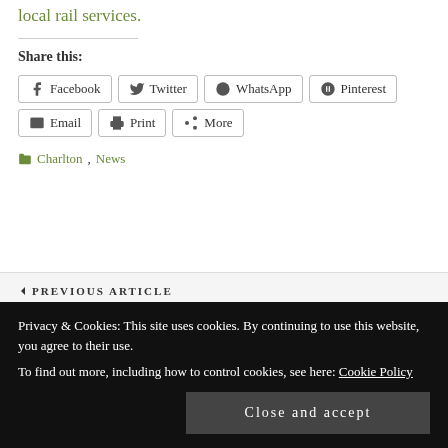local rail services.
Share this:
Facebook  Twitter  WhatsApp  Pinterest  Email  Print  More
Charlton, News
PREVIOUS ARTICLE
Privacy & Cookies: This site uses cookies. By continuing to use this website, you agree to their use. To find out more, including how to control cookies, see here: Cookie Policy
Close and accept
2017